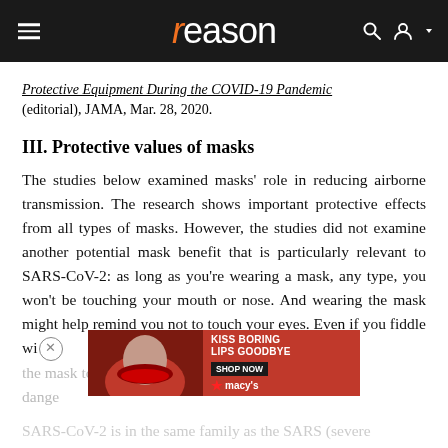reason
Protective Equipment During the COVID-19 Pandemic (editorial), JAMA, Mar. 28, 2020.
III. Protective values of masks
The studies below examined masks' role in reducing airborne transmission. The research shows important protective effects from all types of masks. However, the studies did not examine another potential mask benefit that is particularly relevant to SARS-CoV-2: as long as you're wearing a mask, any type, you won't be touching your mouth or nose. And wearing the mask might help remind you not to touch your eyes. Even if you fiddle with the mask to adjust it, touching your cheek is less dangerous...
[Figure (advertisement): Macy's advertisement: KISS BORING LIPS GOODBYE with SHOP NOW button and Macy's star logo]
SARS-CoV-2 is in the same family as the SARS (severe